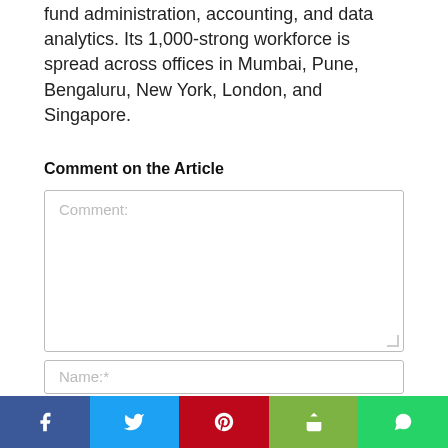fund administration, accounting, and data analytics. Its 1,000-strong workforce is spread across offices in Mumbai, Pune, Bengaluru, New York, London, and Singapore.
Comment on the Article